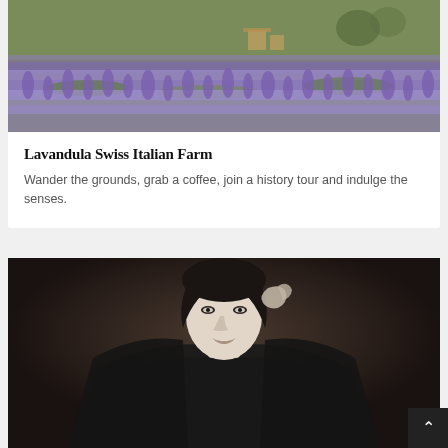[Figure (photo): Lavender field with purple flowers, green grass, and chairs/furniture visible in background]
Lavandula Swiss Italian Farm
Wander the grounds, grab a coffee, join a history tour and indulge the senses.
[Figure (photo): Black and white portrait of a person with pale face wearing a dark hooded garment, hand raised near head, against a dark background]